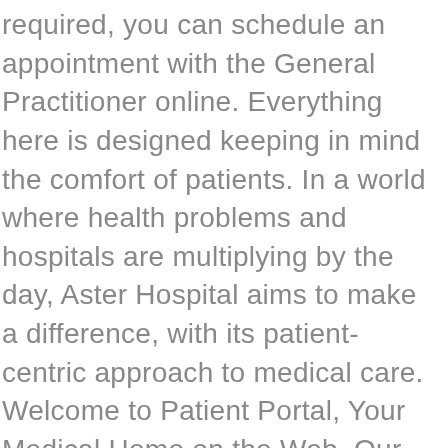required, you can schedule an appointment with the General Practitioner online. Everything here is designed keeping in mind the comfort of patients. In a world where health problems and hospitals are multiplying by the day, Aster Hospital aims to make a difference, with its patient-centric approach to medical care. Welcome to Patient Portal, Your Medical Home on the Web. Our dedicated physicians are committed to providing comprehensive health care services to the people of Southwest Louisiana, one patient at a time. Aster OB/GYN is a women's healthcare practice located on the Upper West Side of Manhattan that offers diagnostic, therapeutic, and preventive healthcare services. For this very purpose, we've left no stone unturned when it comes to utilising the latest in medical technology. With Level IV Trauma Care centre, Advanced Interventional Radiology, sophisticated intensive care